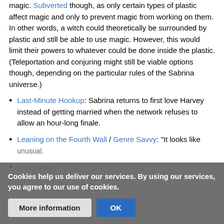magic. Subverted though, as only certain types of plastic affect magic and only to prevent magic from working on them. In other words, a witch could theoretically be surrounded by plastic and still be able to use magic. However, this would limit their powers to whatever could be done inside the plastic. (Teleportation and conjuring might still be viable options though, depending on the particular rules of the Sabrina universe.)
Last-Minute Hookup: Sabrina returns to first love Harvey instead of getting married when the network refuses to allow an hour-long finale.
Leaning on the Fourth Wall / Genre Savvy: "It looks like unusual."
Leprechaun
Cookies help us deliver our services. By using our services, you agree to our use of cookies.